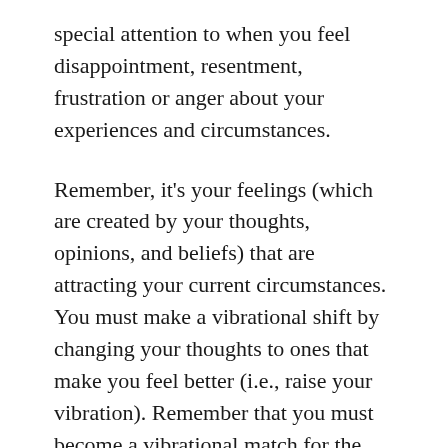special attention to when you feel disappointment, resentment, frustration or anger about your experiences and circumstances.
Remember, it's your feelings (which are created by your thoughts, opinions, and beliefs) that are attracting your current circumstances. You must make a vibrational shift by changing your thoughts to ones that make you feel better (i.e., raise your vibration). Remember that you must become a vibrational match for the things and experiences that you want to attract into your life.
It is especially important to focus your